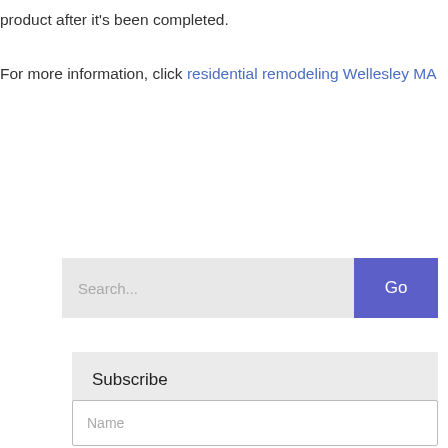product after it's been completed.
For more information, click residential remodeling Wellesley MA
[Figure (screenshot): Search bar with placeholder text 'Search...' and a blue 'Go' button on the right]
Subscribe
[Figure (screenshot): Name input field with placeholder text 'Name']